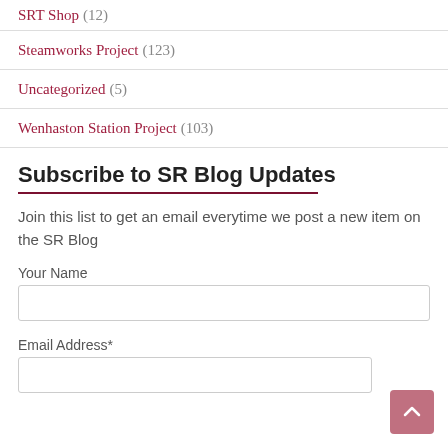SRT Shop (12)
Steamworks Project (123)
Uncategorized (5)
Wenhaston Station Project (103)
Subscribe to SR Blog Updates
Join this list to get an email everytime we post a new item on the SR Blog
Your Name
Email Address*